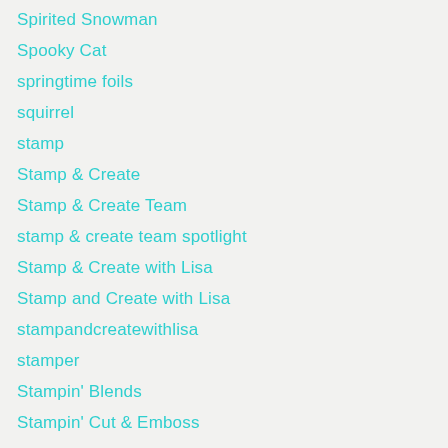Spirited Snowman
Spooky Cat
springtime foils
squirrel
stamp
Stamp & Create
Stamp & Create Team
stamp & create team spotlight
Stamp & Create with Lisa
Stamp and Create with Lisa
stampandcreatewithlisa
stamper
Stampin' Blends
Stampin' Cut & Emboss